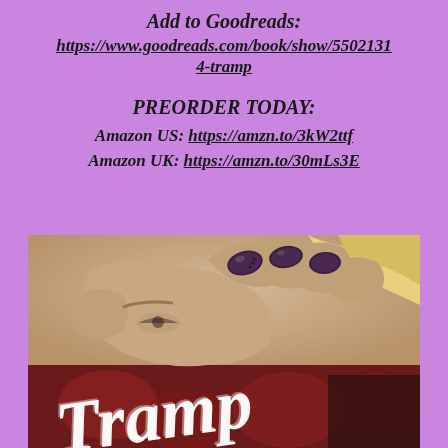Add to Goodreads:
https://www.goodreads.com/book/show/55021314-tramp
PREORDER TODAY:
Amazon US: https://amzn.to/3kW2ttf
Amazon UK: https://amzn.to/30mLs3E
[Figure (photo): Book cover for 'Tramp' showing a close-up of a woman's face partially covered by her hand with dark painted fingernails, with the title 'Tramp' written in white script over the image]